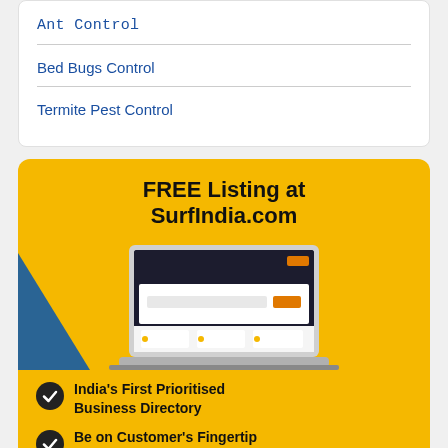Ant Control
Bed Bugs Control
Termite Pest Control
[Figure (infographic): Yellow advertisement banner for SurfIndia.com with FREE Listing offer, laptop screenshot of the website, and bullet points: India's First Prioritised Business Directory, Be on Customer's Fingertip]
FREE Listing at SurfIndia.com
India's First Prioritised Business Directory
Be on Customer's Fingertip